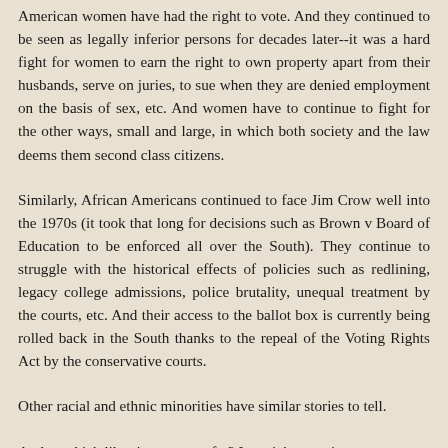American women have had the right to vote. And they continued to be seen as legally inferior persons for decades later--it was a hard fight for women to earn the right to own property apart from their husbands, serve on juries, to sue when they are denied employment on the basis of sex, etc. And women have to continue to fight for the other ways, small and large, in which both society and the law deems them second class citizens.
Similarly, African Americans continued to face Jim Crow well into the 1970s (it took that long for decisions such as Brown v Board of Education to be enforced all over the South). They continue to struggle with the historical effects of policies such as redlining, legacy college admissions, police brutality, unequal treatment by the courts, etc. And their access to the ballot box is currently being rolled back in the South thanks to the repeal of the Voting Rights Act by the conservative courts.
Other racial and ethnic minorities have similar stories to tell.
And to which liberties to you refer? It can't be taxation or...